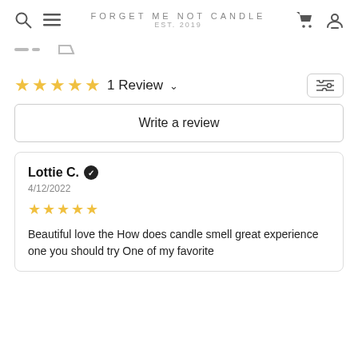FORGET ME NOT CANDLE EST. 2019
[Figure (screenshot): Navigation breadcrumb/filter elements partially visible]
1 Review
Write a review
Lottie C. 4/12/2022 Beautiful love the How does candle smell great experience one you should try One of my favorite